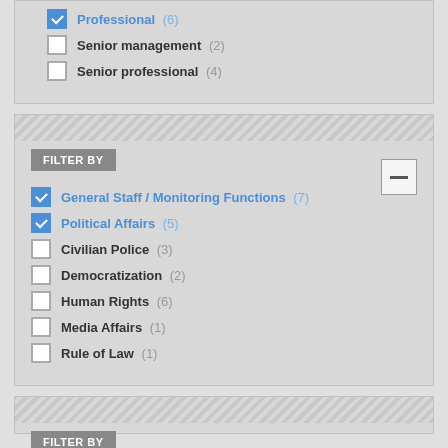Professional (6) [checked]
Senior management (2)
Senior professional (4)
FILTER BY
General Staff / Monitoring Functions (7) [checked]
Political Affairs (5) [checked]
Civilian Police (3)
Democratization (2)
Human Rights (6)
Media Affairs (1)
Rule of Law (1)
FILTER BY